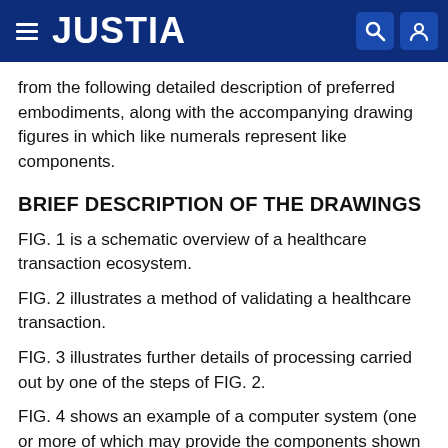JUSTIA
from the following detailed description of preferred embodiments, along with the accompanying drawing figures in which like numerals represent like components.
BRIEF DESCRIPTION OF THE DRAWINGS
FIG. 1 is a schematic overview of a healthcare transaction ecosystem.
FIG. 2 illustrates a method of validating a healthcare transaction.
FIG. 3 illustrates further details of processing carried out by one of the steps of FIG. 2.
FIG. 4 shows an example of a computer system (one or more of which may provide the components shown in